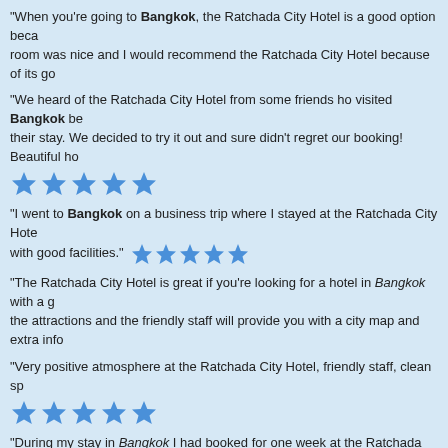"When you're going to Bangkok, the Ratchada City Hotel is a good option beca... room was nice and I would recommend the Ratchada City Hotel because of its go...
"We heard of the Ratchada City Hotel from some friends ho visited Bangkok be... their stay. We decided to try it out and sure didn't regret our booking! Beautiful ho... ★★★★★
"I went to Bangkok on a business trip where I stayed at the Ratchada City Hote... with good facilities." ★★★★★
"The Ratchada City Hotel is great if you're looking for a hotel in Bangkok with a g... the attractions and the friendly staff will provide you with a city map and extra info...
"Very positive atmosphere at the Ratchada City Hotel, friendly staff, clean spa... ★★★★★
"During my stay in Bangkok I had booked for one week at the Ratchada Cit... decoration very nice. The location was good and it's just a short stroll to the centr...
"Good location, not too far from the centre and ok stay. Hotel staff was friendly an...
"We spend two weeks in Bangkok and found out about the Ratchada City Hotel... After spending our first two days in a pretty basic hotel we decide to upgrade ou... Hotel. The room was beautiful with a stunning city view, a large bath room and... here again!" ★★★★★